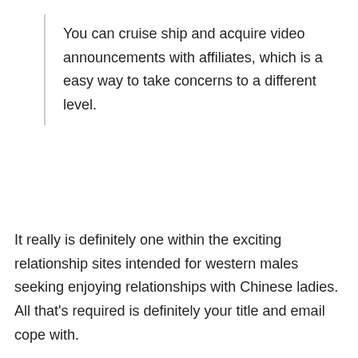You can cruise ship and acquire video announcements with affiliates, which is a easy way to take concerns to a different level.
It really is definitely one within the exciting relationship sites intended for western males seeking enjoying relationships with Chinese ladies. All that’s required is definitely your title and email cope with.